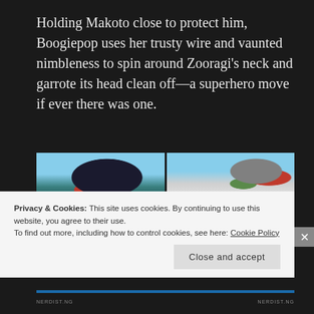Holding Makoto close to protect him, Boogiepop uses her trusty wire and vaunted nimbleness to spin around Zooragi’s neck and garrote its head clean off—a superhero move if ever there was one.
[Figure (photo): Four-panel anime screenshot grid showing Boogiepop holding Makoto (top left), a monster battle scene (top right), a water/debris scene (bottom left), and a blue spotted creature closeup (bottom right)]
Privacy & Cookies: This site uses cookies. By continuing to use this website, you agree to their use.
To find out more, including how to control cookies, see here: Cookie Policy
Close and accept